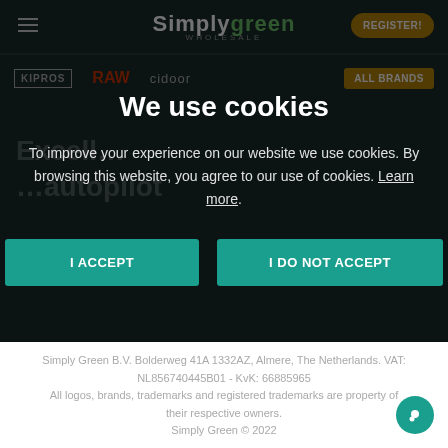Simply Green Wholesale — REGISTER!
[Figure (screenshot): Simply Green Wholesale website header with hamburger menu, logo, and register button, plus brands bar with KIPROS, RAW, cidoor, ALL BRANDS]
We use cookies
To improve your experience on our website we use cookies. By browsing this website, you agree to our use of cookies. Learn more.
I ACCEPT   I DO NOT ACCEPT
Simply Green B.V. Bolderweg 41A 1332AZ, Almere, The Netherlands. VAT: NL856740445B01 - KvK: 66885965
All logos, brands, trademarks and registered trademarks are property of their respective owners.
Simply Green © 2022